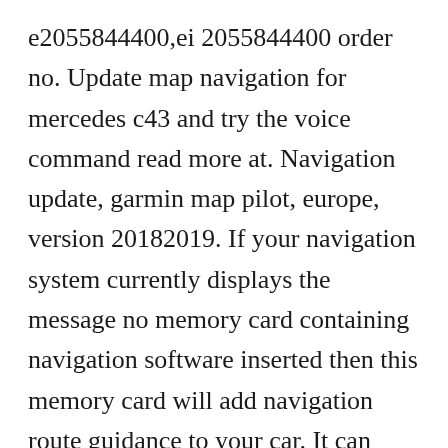e2055844400,ei 2055844400 order no. Update map navigation for mercedes c43 and try the voice command read more at. Navigation update, garmin map pilot, europe, version 20182019. If your navigation system currently displays the message no memory card containing navigation software inserted then this memory card will add navigation route guidance to your car. It can simply be integrated in the vehicle at the mercedesbenz service partner. Using apkpure app to upgrade free gps navigation, fast, free and save your